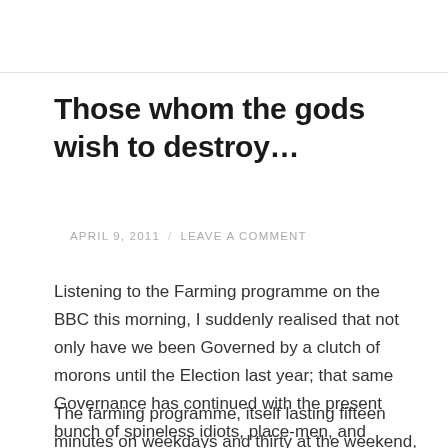Those whom the gods wish to destroy…
APRIL 9, 2011  /  LEAVE A COMMENT
Listening to the Farming programme on the BBC this morning, I suddenly realised that not only have we been Governed by a clutch of morons until the Election last year; that same Governance has continued with the present bunch of spineless idiots, place-men, and chancers.
The farming programme, itself lasting fifteen minutes on weekdays and thirty at the weekend, is a snapshot of essential lives within our country, because they talk